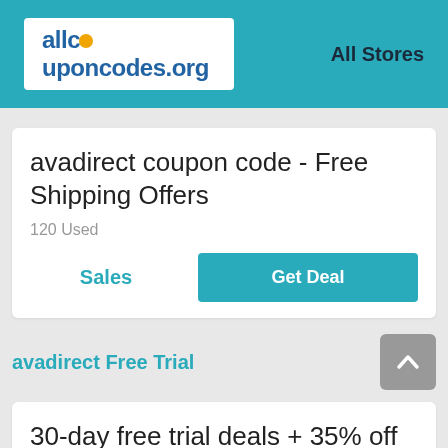allcouponcodes.org | All Stores
avadirect coupon code - Free Shipping Offers
120 Used
Sales
Get Deal
avadirect Free Trial
30-day free trial deals + 35% off
95 Used